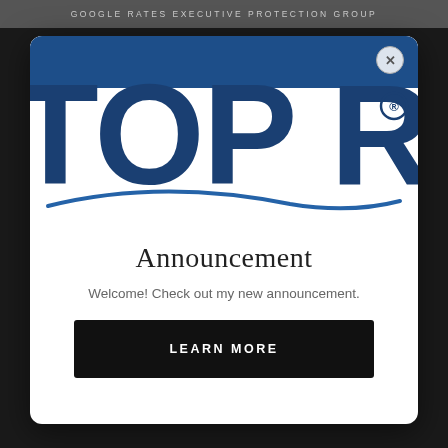GOOGLE RATES EXECUTIVE PROTECTION GROUP
[Figure (logo): TOPRA logo — large bold dark blue letters 'TOP RA' with a circular O shape, and a blue curved swoosh line beneath the text]
Announcement
Welcome! Check out my new announcement.
LEARN MORE